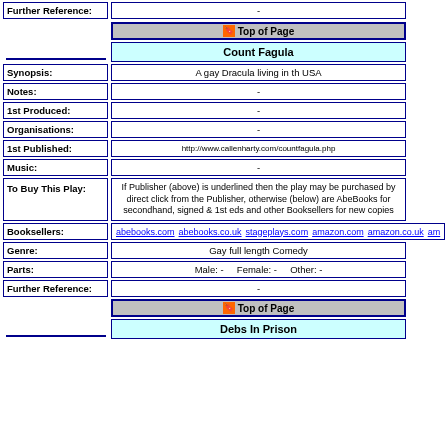| Field | Value |
| --- | --- |
| Further Reference: | - |
| [Top of Page button] |  |
| Count Fagula |  |
| Synopsis: | A gay Dracula living in th USA |
| Notes: | - |
| 1st Produced: | - |
| Organisations: | - |
| 1st Published: | http://www.callenharty.com/countfagula.php |
| Music: | - |
| To Buy This Play: | If Publisher (above) is underlined then the play may be purchased by direct click from the Publisher, otherwise (below) are AbeBooks for secondhand, signed & 1st eds and other Booksellers for new copies |
| Booksellers: | abebooks.com  abebooks.co.uk  stageplays.com  amazon.com  amazon.co.uk  am |
| Genre: | Gay full length Comedy |
| Parts: | Male: -   Female: -   Other: - |
| Further Reference: | - |
| [Top of Page button] |  |
| Debs In Prison |  |